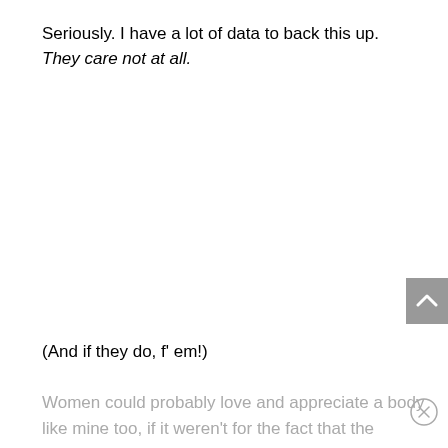Seriously. I have a lot of data to back this up. They care not at all.
(And if they do, f' em!)
Women could probably love and appreciate a body like mine too, if it weren't for the fact that the